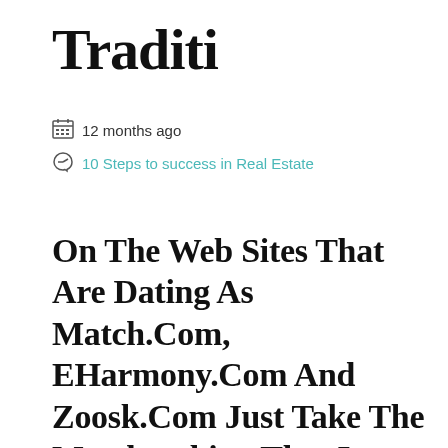Traditi
12 months ago
10 Steps to success in Real Estate
On The Web Sites That Are Dating As Match.Com, EHarmony.Com And Zoosk.Com Just Take The Matchmaking That Is Traditional On The Internet And Permit Visitors To Fulfill The Other Person Through The Internet, With Many Encounters